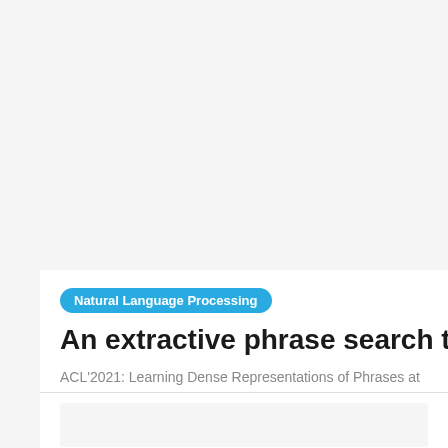Natural Language Processing
An extractive phrase search tool based on
ACL'2021: Learning Dense Representations of Phrases at Scale
18 AUGUST 2021